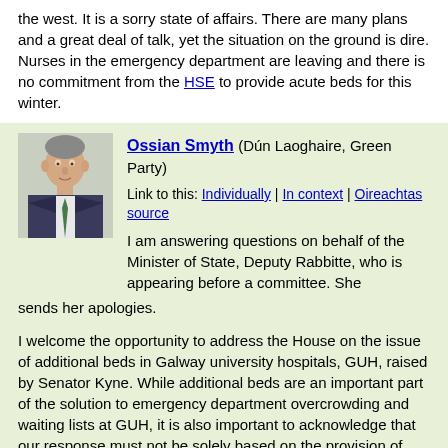the west. It is a sorry state of affairs. There are many plans and a great deal of talk, yet the situation on the ground is dire. Nurses in the emergency department are leaving and there is no commitment from the HSE to provide acute beds for this winter.
Ossian Smyth (Dún Laoghaire, Green Party)
Link to this: Individually | In context | Oireachtas source
I am answering questions on behalf of the Minister of State, Deputy Rabbitte, who is appearing before a committee. She sends her apologies.
I welcome the opportunity to address the House on the issue of additional beds in Galway university hospitals, GUH, raised by Senator Kyne. While additional beds are an important part of the solution to emergency department overcrowding and waiting lists at GUH, it is also important to acknowledge that our response must not be solely based on the provision of extra beds but also on the provision of alternative pathways of care outside the acute sector in line with Sláintecare's right care, right place, right time philosophy.
I acknowledge the scale of the challenge facing our acute hospitals as we head into what is expected to be a difficult winter with increasing levels of Covid-19. The Government is taking action to mitigate the challenges presented. The Minister for Health, Deputy Stephen Donnelly, published the 2021-22 winter plan on 15 November. The plan centres on